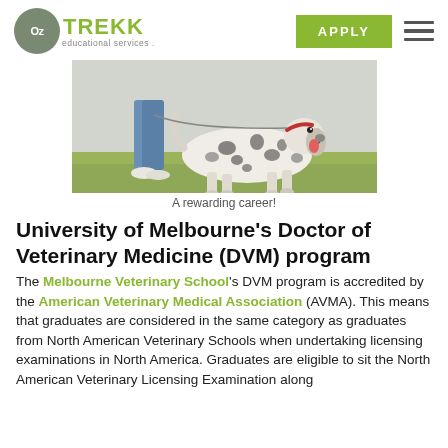OzTREKK educational services — APPLY
[Figure (photo): A spotted dog (pointer breed) being walked by a person in blue scrubs and white shoes on a grassy area outdoors.]
A rewarding career!
University of Melbourne's Doctor of Veterinary Medicine (DVM) program
The Melbourne Veterinary School's DVM program is accredited by the American Veterinary Medical Association (AVMA). This means that graduates are considered in the same category as graduates from North American Veterinary Schools when undertaking licensing examinations in North America. Graduates are eligible to sit the North American Veterinary Licensing Examination along